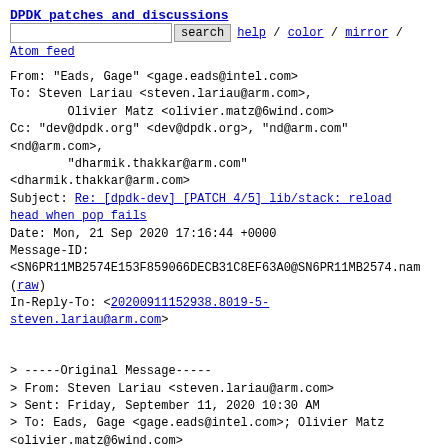DPDK patches and discussions
From: "Eads, Gage" <gage.eads@intel.com>
To: Steven Lariau <steven.lariau@arm.com>,
        Olivier Matz <olivier.matz@6wind.com>
Cc: "dev@dpdk.org" <dev@dpdk.org>, "nd@arm.com"
<nd@arm.com>,
        "dharmik.thakkar@arm.com"
<dharmik.thakkar@arm.com>
Subject: Re: [dpdk-dev] [PATCH 4/5] lib/stack: reload head when pop fails
Date: Mon, 21 Sep 2020 17:16:44 +0000
Message-ID:
<SN6PR11MB2574E153F859066DECB31C8EF63A0@SN6PR11MB2574.nam
(raw)
In-Reply-To: <20200911152938.8019-5-steven.lariau@arm.com>
> -----Original Message-----
> From: Steven Lariau <steven.lariau@arm.com>
> Sent: Friday, September 11, 2020 10:30 AM
> To: Eads, Gage <gage.eads@intel.com>; Olivier Matz
<olivier.matz@6wind.com>
> Cc: dev@dpdk.org; nd@arm.com;
dharmik.thakkar@arm.com; Steven Lariau